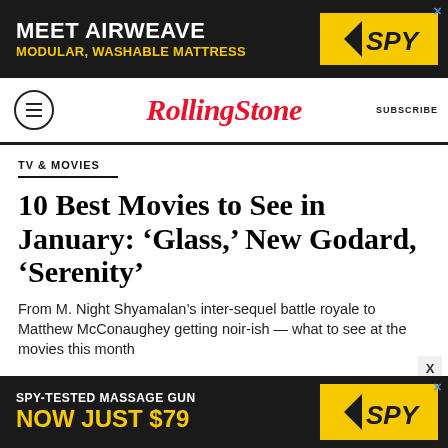[Figure (other): SPY advertisement banner: 'MEET AIRWEAVE / MODULAR, WASHABLE MATTRESS' with SPY logo on black/yellow background]
Rolling Stone  SUBSCRIBE
TV & MOVIES
10 Best Movies to See in January: ‘Glass,’ New Godard, ‘Serenity’
From M. Night Shyamalan’s inter-sequel battle royale to Matthew McConaughey getting noir-ish — what to see at the movies this month
[Figure (other): SPY advertisement banner: 'SPY-TESTED MASSAGE GUN / NOW JUST $79' with SPY logo on black/yellow background]